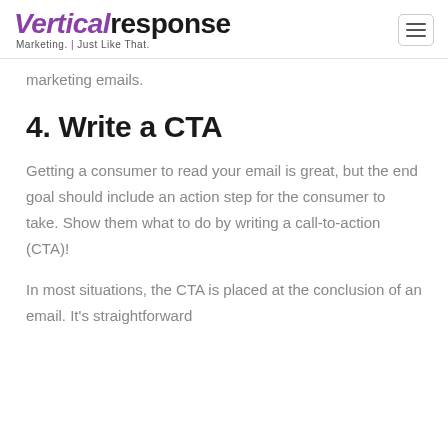VerticalResponse — Marketing. Just Like That.
marketing emails.
4. Write a CTA
Getting a consumer to read your email is great, but the end goal should include an action step for the consumer to take. Show them what to do by writing a call-to-action (CTA)!
In most situations, the CTA is placed at the conclusion of an email. It's straightforward